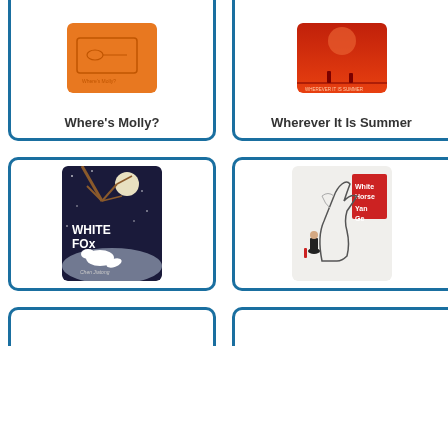[Figure (illustration): Book cover for 'Where's Molly?' with orange background and key-like design]
Where's Molly?
[Figure (illustration): Book cover for 'Wherever It Is Summer' with red/orange sunset background and silhouette figures]
Wherever It Is Summer
[Figure (illustration): Book cover for 'White Fox' by Chen Jiatong showing a white fox in a dark snowy night scene with tree branches and moon]
White Fox
[Figure (illustration): Book cover for 'White Horse' by Yan Ge showing a white horse rearing and a girl in black dress, with red title block]
White Horse